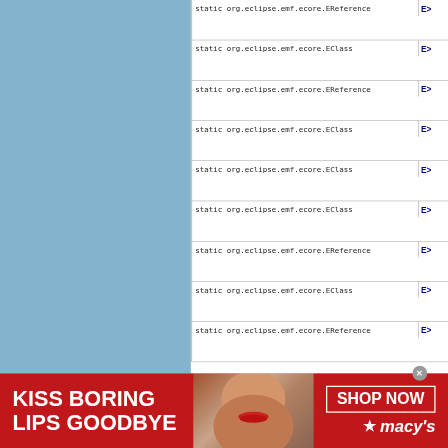| Type |  |
| --- | --- |
| static org.eclipse.emf.ecore.EReference | E> |
| static org.eclipse.emf.ecore.EClass | E> |
| static org.eclipse.emf.ecore.EReference | E> |
| static org.eclipse.emf.ecore.EClass | E> |
| static org.eclipse.emf.ecore.EClass | E> |
| static org.eclipse.emf.ecore.EClass | E> |
| static org.eclipse.emf.ecore.EReference | E> |
| static org.eclipse.emf.ecore.EClass | E> |
| static org.eclipse.emf.ecore.EReference | E> |
[Figure (photo): Macy's advertisement banner: 'KISS BORING LIPS GOODBYE' with woman's photo and 'SHOP NOW' button with Macy's star logo]